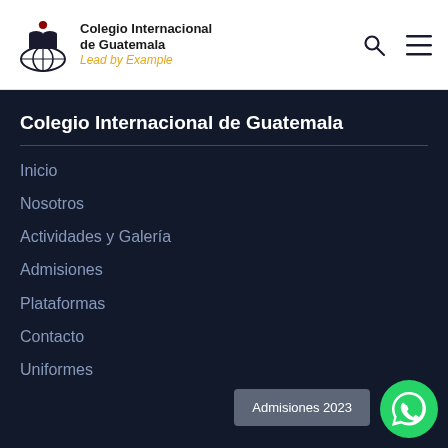Colegio Internacional de Guatemala — Lead by Example
Colegio Internacional de Guatemala
Inicio
Nosotros
Actividades y Galería
Admisiones
Plataformas
Contacto
Uniformes
Admisiones 2023
[Figure (logo): WhatsApp green circular button with phone icon]